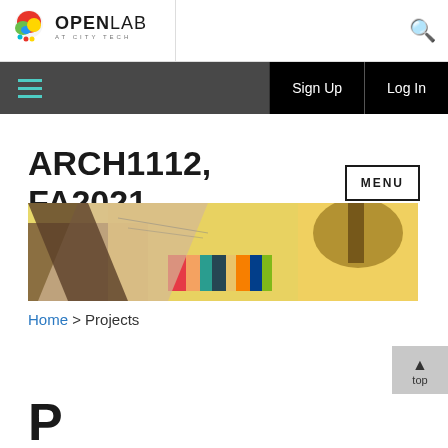[Figure (logo): OpenLab at City Tech logo with colorful circular icon and text OPENLAB AT CITY TECH]
Sign Up  Log In
ARCH1112, FA2021
[Figure (photo): Hero banner photo showing architectural drawings, color swatches and paper materials spread on a table with yellow, red, blue and brown tones]
Home > Projects
P